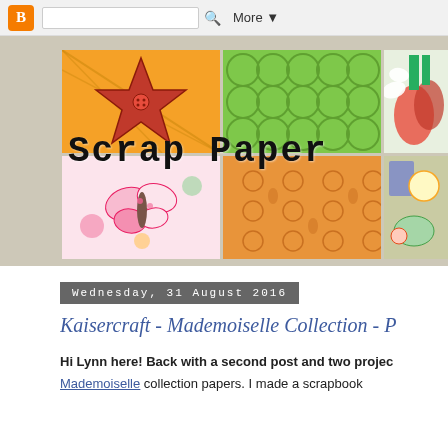Blogger navigation bar with search box and More button
[Figure (illustration): Scrapbooking blog header banner showing a 2x3 grid of scrapbook paper images: top row has a star/yellow plaid design, green textured circles pattern, and vegetable/flower image; bottom row has butterfly floral design, orange damask pattern, and miscellaneous craft items. Overlaid text reads 'Scrap Paper']
Wednesday, 31 August 2016
Kaisercraft - Mademoiselle Collection - P
Hi Lynn here! Back with a second post and two projec
Mademoiselle collection papers. I made a scrapbook